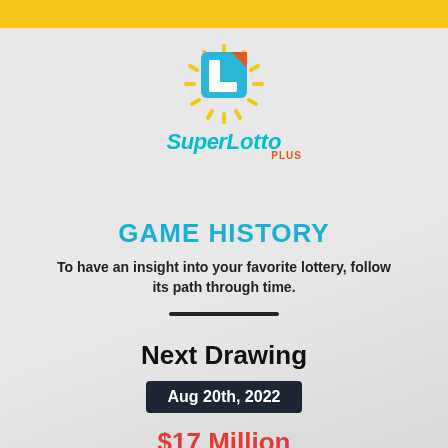[Figure (logo): SuperLotto Plus logo with yellow sunburst, blue L shape, and cyan italic text]
GAME HISTORY
To have an insight into your favorite lottery, follow its path through time.
Next Drawing
Aug 20th, 2022
$17 Million